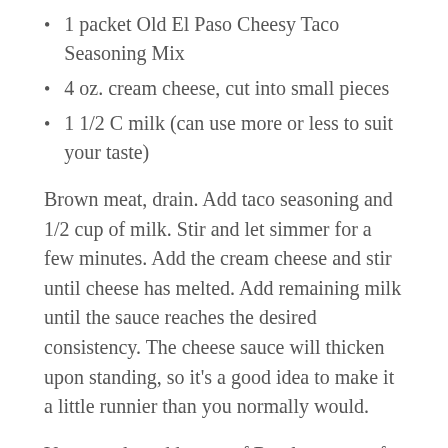1 packet Old El Paso Cheesy Taco Seasoning Mix
4 oz. cream cheese, cut into small pieces
1 1/2 C milk (can use more or less to suit your taste)
Brown meat, drain. Add taco seasoning and 1/2 cup of milk. Stir and let simmer for a few minutes. Add the cream cheese and stir until cheese has melted. Add remaining milk until the sauce reaches the desired consistency. The cheese sauce will thicken upon standing, so it’s a good idea to make it a little runnier than you normally would.
You can also add a can of Rotel tomatoes for added kick – be aware that the sauce might not need as much milk if you do.